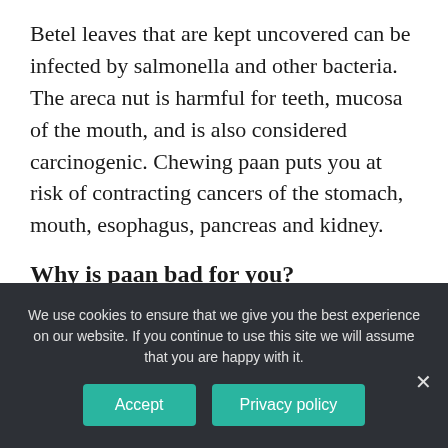Betel leaves that are kept uncovered can be infected by salmonella and other bacteria. The areca nut is harmful for teeth, mucosa of the mouth, and is also considered carcinogenic. Chewing paan puts you at risk of contracting cancers of the stomach, mouth, esophagus, pancreas and kidney.
Why is paan bad for you?
Supari paan The World Health Organization considers the areca nut carcinogenic and many studies have linked it to cancers of the mouth
We use cookies to ensure that we give you the best experience on our website. If you continue to use this site we will assume that you are happy with it.